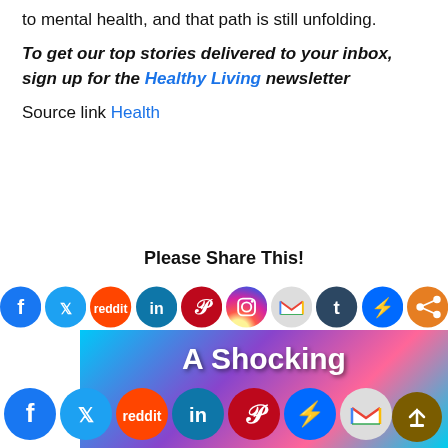to mental health, and that path is still unfolding.
To get our top stories delivered to your inbox, sign up for the Healthy Living newsletter
Source link Health
Please Share This!
[Figure (infographic): Row of social media sharing icons: Facebook, Twitter, Reddit, LinkedIn, Pinterest, Instagram, Gmail, Tumblr, Messenger, Share]
[Figure (infographic): Bottom banner showing 'A Shocking' text over colorful background with social media icons row at bottom and scroll-to-top button]